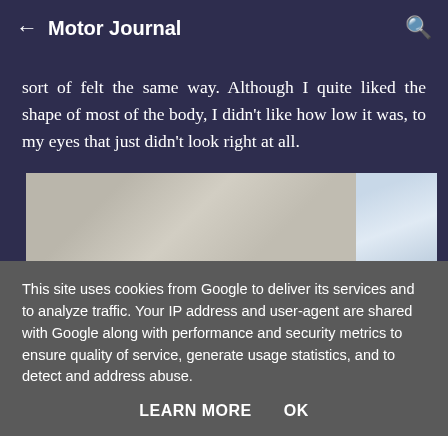← Motor Journal 🔍
sort of felt the same way. Although I quite liked the shape of most of the body, I didn't like how low it was, to my eyes that just didn't look right at all.
[Figure (photo): Partial view of a car or vehicle surface in gray/beige tones with sky visible on the right side.]
This site uses cookies from Google to deliver its services and to analyze traffic. Your IP address and user-agent are shared with Google along with performance and security metrics to ensure quality of service, generate usage statistics, and to detect and address abuse.
LEARN MORE   OK